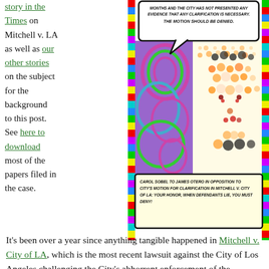story in the Times on Mitchell v. LA as well as our other stories on the subject for the background to this post. See here to download most of the papers filed in the case.
[Figure (illustration): Comic-style illustration showing a colorful psychedelic background with a halftone portrait of a woman (Carol Sobel). Speech bubble at top reads: 'MONTHS AND THE CITY HAS NOT PRESENTED ANY EVIDENCE THAT ANY CLARIFICATION IS NECESSARY. THE MOTION SHOULD BE DENIED.' Caption box at bottom reads: 'CAROL SOBEL TO JAMES OTERO IN OPPOSITION TO CITY'S MOTION FOR CLARIFICATION IN MITCHELL V. CITY OF LA: YOUR HONOR, WHEN DEFENDANTS LIE, YOU MUST DENY!']
It's been over a year since anything tangible happened in Mitchell v. City of LA, which is the most recent lawsuit against the City of Los Angeles challenging the City's abhorrent enforcement of the abhorrent LAMC 56.11 as an abhorrent